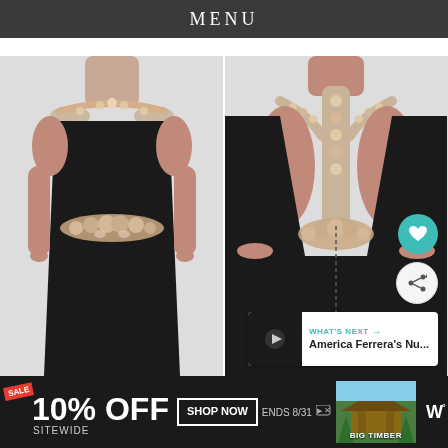MENU
[Figure (photo): Two views of a black formal evening gown with beaded/embroidered floral details at the neckline, shoulders, and waist. Left shows front view; right shows back view with open back and beaded spine detail. Model shown from neck to floor.]
WHAT'S NEXT → America Ferrera's Nu...
[Figure (screenshot): Advertisement banner: SALE 10% OFF SITEWIDE, SHOP NOW, ENDS 8/31, BIG TIMBER, and W° logo]